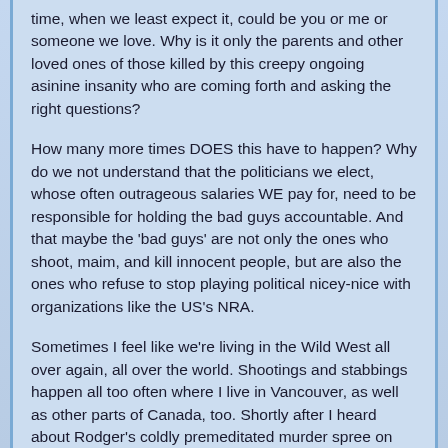time, when we least expect it, could be you or me or someone we love. Why is it only the parents and other loved ones of those killed by this creepy ongoing asinine insanity who are coming forth and asking the right questions?
How many more times DOES this have to happen? Why do we not understand that the politicians we elect, whose often outrageous salaries WE pay for, need to be responsible for holding the bad guys accountable. And that maybe the 'bad guys' are not only the ones who shoot, maim, and kill innocent people, but are also the ones who refuse to stop playing political nicey-nice with organizations like the US's NRA.
Sometimes I feel like we're living in the Wild West all over again, all over the world. Shootings and stabbings happen all too often where I live in Vancouver, as well as other parts of Canada, too. Shortly after I heard about Rodger's coldly premeditated murder spree on the news again tonight, I saw a commercial featuring a small child at a music recital playing the violin off-key while proud parents looked on. I